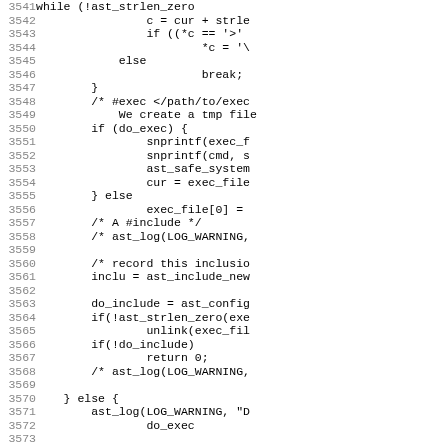[Figure (screenshot): Source code listing showing lines 3541-3572+ with line numbers on left and C code on right, truncated on the right side. Code includes a while loop with ast_strlen_zero, string manipulation, exec/include logic, and ast_log calls.]